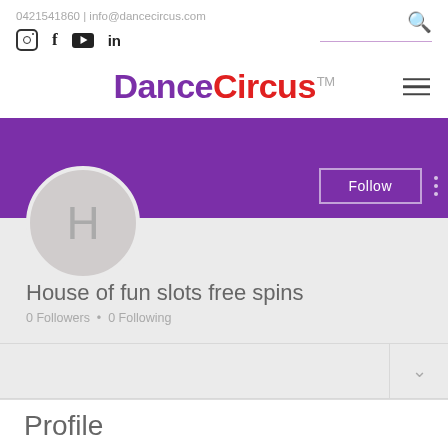0421541860 | info@dancecircus.com
[Figure (logo): DanceCircus logo with purple 'Dance' and red 'Circus' text and TM symbol]
[Figure (illustration): Purple banner background for user profile page]
House of fun slots free spins
0 Followers • 0 Following
Profile
Joined May 16, 2023